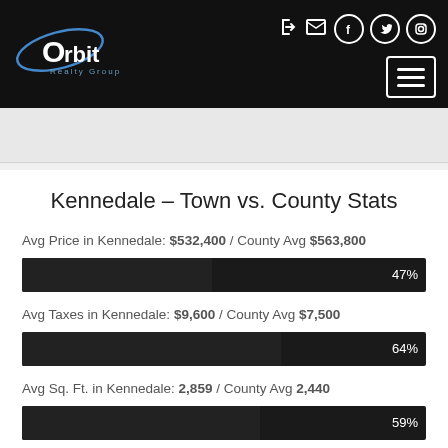[Figure (logo): Orbit Realty Group logo on dark header with navigation icons and menu button]
Kennedale – Town vs. County Stats
Avg Price in Kennedale: $532,400 / County Avg $563,800
[Figure (bar-chart): Avg Price percentage bar]
Avg Taxes in Kennedale: $9,600 / County Avg $7,500
[Figure (bar-chart): Avg Taxes percentage bar]
Avg Sq. Ft. in Kennedale: 2,859 / County Avg 2,440
[Figure (bar-chart): Avg Sq Ft percentage bar]